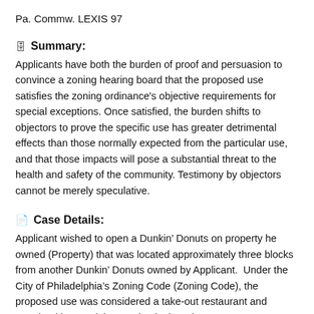Pa. Commw. LEXIS 97
Summary:
Applicants have both the burden of proof and persuasion to convince a zoning hearing board that the proposed use satisfies the zoning ordinance's objective requirements for special exceptions. Once satisfied, the burden shifts to objectors to prove the specific use has greater detrimental effects than those normally expected from the particular use, and that those impacts will pose a substantial threat to the health and safety of the community. Testimony by objectors cannot be merely speculative.
Case Details:
Applicant wished to open a Dunkin’ Donuts on property he owned (Property) that was located approximately three blocks from another Dunkin’ Donuts owned by Applicant.  Under the City of Philadelphia’s Zoning Code (Zoning Code), the proposed use was considered a take-out restaurant and permitted by special exception in the relevant